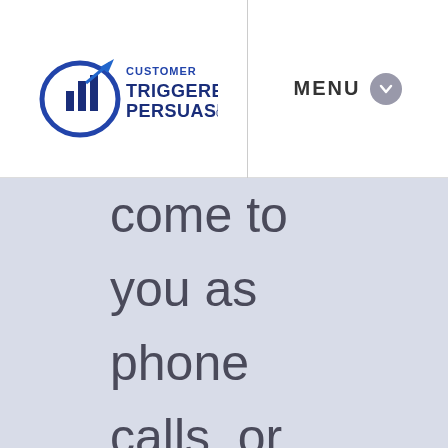[Figure (logo): Customer Triggered Persuasion logo with stylized bar chart icon and navy/blue text]
MENU
come to you as phone calls, or from prospective clients who fill in their information on your website.